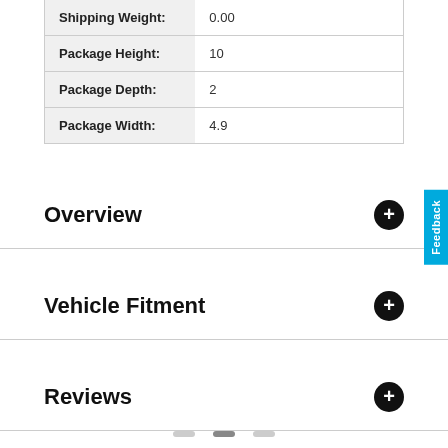| Attribute | Value |
| --- | --- |
| Shipping Weight: | 0.00 |
| Package Height: | 10 |
| Package Depth: | 2 |
| Package Width: | 4.9 |
Overview
Vehicle Fitment
Reviews
Q & A